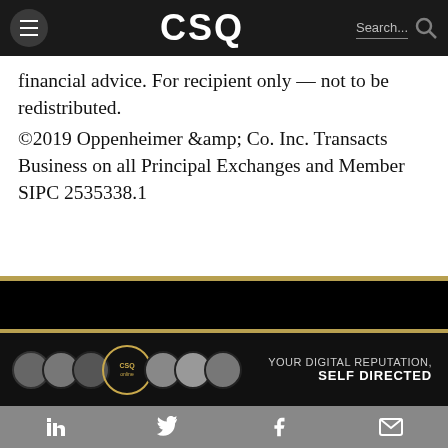CSQ — Search...
financial advice. For recipient only — not to be redistributed.
©2019 Oppenheimer &amp; Co. Inc. Transacts Business on all Principal Exchanges and Member SIPC 2535338.1
[Figure (illustration): CSQ advertisement banner with faces and text: YOUR DIGITAL REPUTATION, SELF DIRECTED]
in  [twitter bird]  f  [envelope]